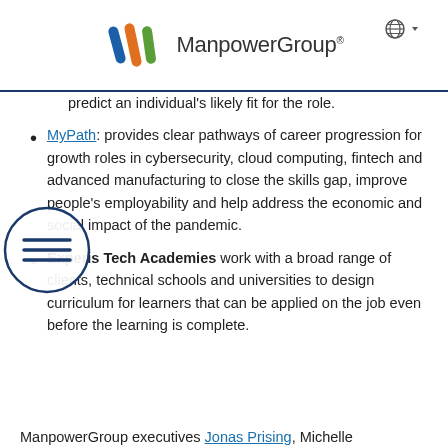ManpowerGroup
predict an individual's likely fit for the role.
MyPath: provides clear pathways of career progression for growth roles in cybersecurity, cloud computing, fintech and advanced manufacturing to close the skills gap, improve people's employability and help address the economic and social impact of the pandemic.
Experis Tech Academies work with a broad range of clients, technical schools and universities to design curriculum for learners that can be applied on the job even before the learning is complete.
ManpowerGroup executives Jonas Prising, Michelle